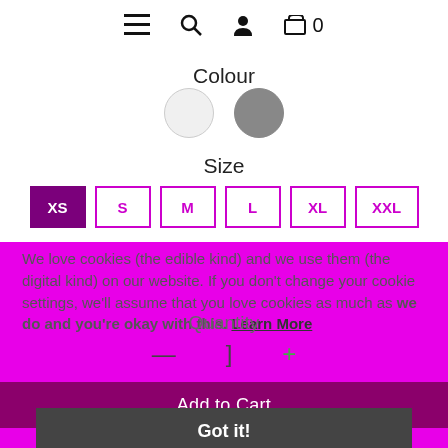≡ 🔍 👤 🛒 0
Colour
[Figure (illustration): Two colour swatches: white circle and grey circle]
Size
[Figure (illustration): Size selector buttons: XS (selected, dark), S, M, L, XL, XXL with magenta borders]
We love cookies (the edible kind) and we use them (the digital kind) on our website. If you don't change your cookie settings, we'll assume that you love cookies as much as we do and you're okay with this. Learn More
Quantity
— ] +
Add to Cart
Got it!
Share: